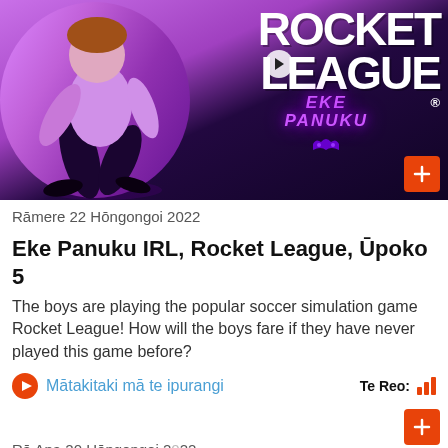[Figure (photo): Promotional image for Eke Panuku IRL Rocket League episode 5. Shows a person dancing/posing against a purple background on the left, with 'ROCKET LEAGUE' text in large white letters on the right, and 'EKE PANUKU' text in purple/neon style below. Orange plus button in bottom right.]
Rāmere 22 Hōngongoi 2022
Eke Panuku IRL, Rocket League, Ūpoko 5
The boys are playing the popular soccer simulation game Rocket League! How will the boys fare if they have never played this game before?
Mātakitaki mā te ipurangi
Te Reo:
Rā Apa 20 Hōngongoi 2022